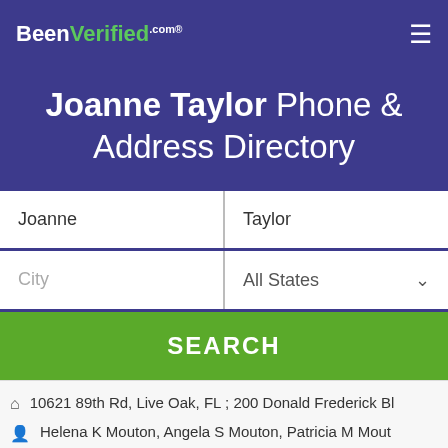BeenVerified.com
Joanne Taylor Phone & Address Directory
Joanne | Taylor
City | All States
SEARCH
10621 89th Rd, Live Oak, FL ; 200 Donald Frederick Bl
Helena K Mouton, Angela S Mouton, Patricia M Mout
@windstream.net, @aol.com, @gmail.com